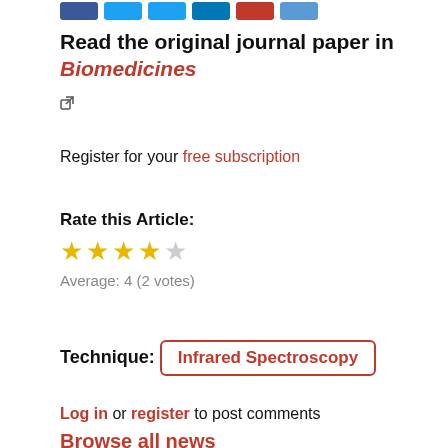[Figure (other): Social sharing buttons: Facebook, Twitter, Twitter, LinkedIn, Reddit, Email]
Read the original journal paper in Biomedicines
[Figure (other): External link icon]
Register for your free subscription
Rate this Article:
[Figure (other): Star rating: 4 out of 5 stars (3 filled yellow, 1 half/filled, 1 empty)]
Average: 4 (2 votes)
Technique: Infrared Spectroscopy
Log in or register to post comments
Browse all news